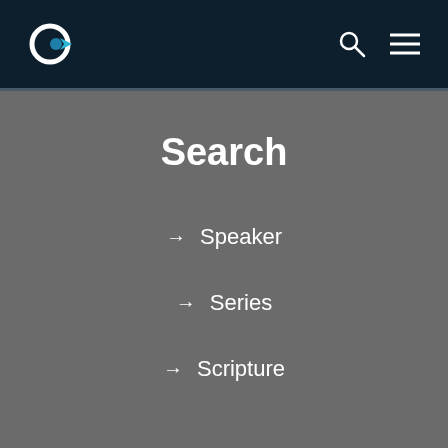Navigation header with logo, search icon, and menu icon
Search
→ Speaker
→ Series
→ Scripture